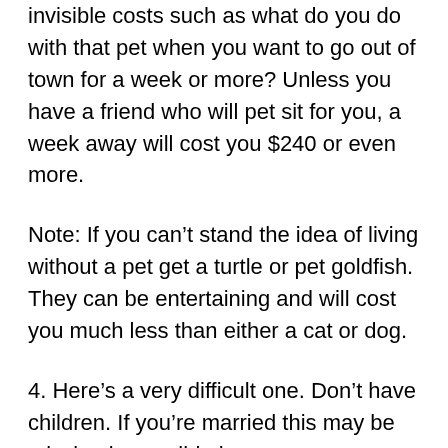invisible costs such as what do you do with that pet when you want to go out of town for a week or more? Unless you have a friend who will pet sit for you, a week away will cost you $240 or even more.
Note: If you can't stand the idea of living without a pet get a turtle or pet goldfish. They can be entertaining and will cost you much less than either a cat or dog.
4. Here's a very difficult one. Don't have children. If you're married this may be mission impossible because your husband or wife will have a vote in the decision. But if you must have children wait until you're at least 25. By then you should be emotionally and financially more ready. If you're a guy, you might